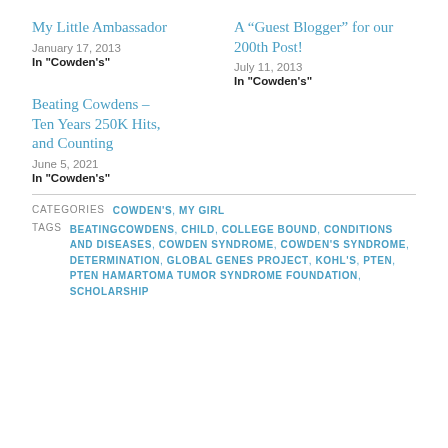My Little Ambassador
January 17, 2013
In "Cowden's"
A “Guest Blogger” for our 200th Post!
July 11, 2013
In "Cowden's"
Beating Cowdens – Ten Years 250K Hits, and Counting
June 5, 2021
In "Cowden's"
CATEGORIES  COWDEN'S, MY GIRL
TAGS  BEATINGCOWDENS, CHILD, COLLEGE BOUND, CONDITIONS AND DISEASES, COWDEN SYNDROME, COWDEN'S SYNDROME, DETERMINATION, GLOBAL GENES PROJECT, KOHL'S, PTEN, PTEN HAMARTOMA TUMOR SYNDROME FOUNDATION, SCHOLARSHIP